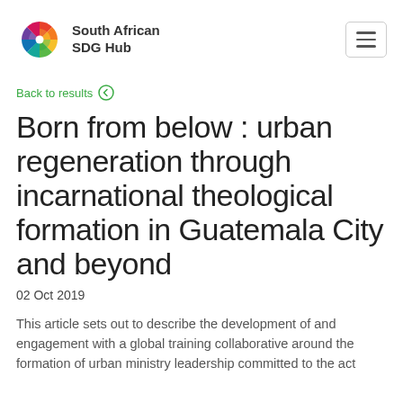South African SDG Hub
Back to results
Born from below : urban regeneration through incarnational theological formation in Guatemala City and beyond
02 Oct 2019
This article sets out to describe the development of and engagement with a global training collaborative around the formation of urban ministry leadership committed to the act